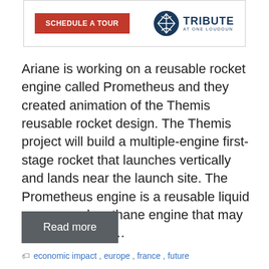[Figure (other): Advertisement banner with orange 'SCHEDULE A TOUR' button and 'Tribute at One Loudoun' logo]
Ariane is working on a reusable rocket engine called Prometheus and they created animation of the Themis reusable rocket design. The Themis project will build a multiple-engine first-stage rocket that launches vertically and lands near the launch site. The Prometheus engine is a reusable liquid oxygen and methane engine that may cost as little as …
Read more
economic impact, europe, france, future